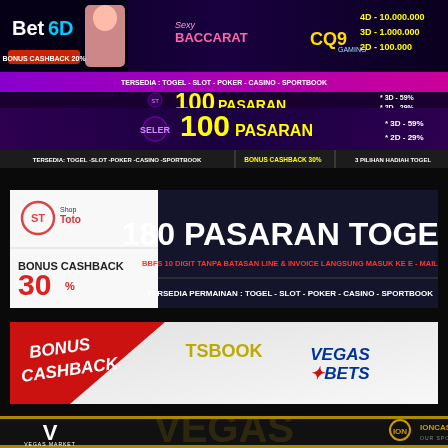[Figure (advertisement): Bet6D banner with Sexy Baccarat and CQ9 logos, showing lottery prize tiers: 4D - 10.000.000, 3D - 1.000.000, 2D - 100.000. BONUS CASHBACK 20%. Bottom bar: TERSEDIA : TOGEL - SLOT - POKER - CASINO - SPORTBOOK]
[Figure (advertisement): 100 PASARAN banner with purple gradient, showing * 3D - 59%, * 2D - 29%. Bottom: TERSEDIA: TOGEL-SLOT-POKER-CASINO-SPORTBOOK | BONUS CASHBACK 30% | 3 PILIHAN HADIAH TOGEL]
[Figure (advertisement): ShopToto banner: 180 PASARAN TOGEL. BBFS 10 DIGIT TANPA BATASAN LINE & INVOICE LANGSUNG MASUK KE E-MAIL. BONUS CASHBACK 30%. TERSEDIA PERMAINAN : TOGEL - SLOT - POKER - CASINO - SPORTBOOK]
[Figure (advertisement): BONUS CASHBACK banner with TSBOOK and VEGASBETS logos on light background with red diagonal]
[Figure (advertisement): Vegas Market banner with ION CASINO OUR SPONSOR on dark background with gold borders and large watermark text VEGAS]